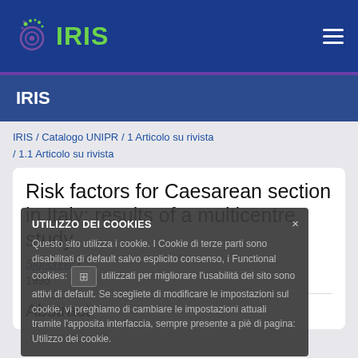IRIS
IRIS
IRIS / Catalogo UNIPR / 1 Articolo su rivista / 1.1 Articolo su rivista
Risk factors for Caesarean section in Italy: results of a multicentre study
Signorelli, C;
1995
Abstract
UTILIZZO DEI COOKIES
Questo sito utilizza i cookie. I Cookie di terze parti sono disabilitati di default salvo esplicito consenso, i Functional cookies: utilizzati per migliorare l'usabilità del sito sono attivi di default. Se scegliete di modificare le impostazioni sul cookie, vi preghiamo di cambiare le impostazioni attuali tramite l'apposita interfaccia, sempre presente a piè di pagina: Utilizzo dei cookie.